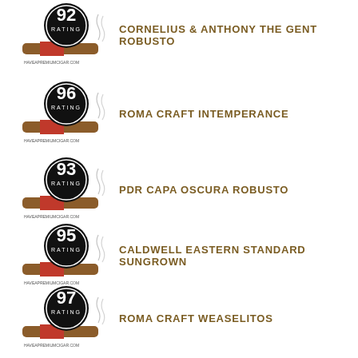92 RATING — CORNELIUS & ANTHONY THE GENT ROBUSTO
96 RATING — ROMA CRAFT INTEMPERANCE
93 RATING — PDR CAPA OSCURA ROBUSTO
95 RATING — CALDWELL EASTERN STANDARD SUNGROWN
97 RATING — ROMA CRAFT WEASELITOS
92 RATING — CLE HABANO 4X60
92 RATING — (partial, bottom)